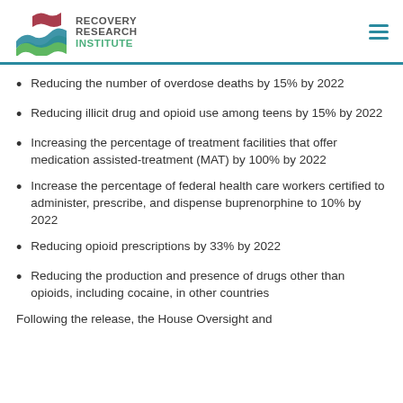Recovery Research Institute
Reducing the number of overdose deaths by 15% by 2022
Reducing illicit drug and opioid use among teens by 15% by 2022
Increasing the percentage of treatment facilities that offer medication assisted-treatment (MAT) by 100% by 2022
Increase the percentage of federal health care workers certified to administer, prescribe, and dispense buprenorphine to 10% by 2022
Reducing opioid prescriptions by 33% by 2022
Reducing the production and presence of drugs other than opioids, including cocaine, in other countries
Following the release, the House Oversight and